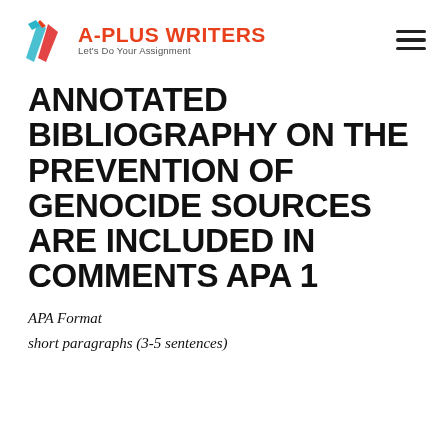[Figure (logo): A-Plus Writers logo with a stylized book/pen icon in teal and red, company name in red bold text, tagline 'Let’s Do Your Assignment' in gray]
ANNOTATED BIBLIOGRAPHY ON THE PREVENTION OF GENOCIDE SOURCES ARE INCLUDED IN COMMENTS APA 1
APA Format
short paragraphs (3-5 sentences)